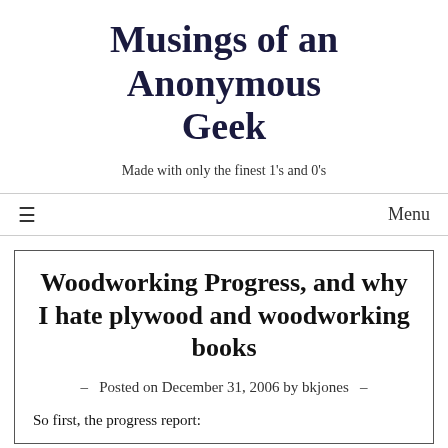Musings of an Anonymous Geek
Made with only the finest 1's and 0's
≡   Menu
Woodworking Progress, and why I hate plywood and woodworking books
– Posted on December 31, 2006 by bkjones –
So first, the progress report: